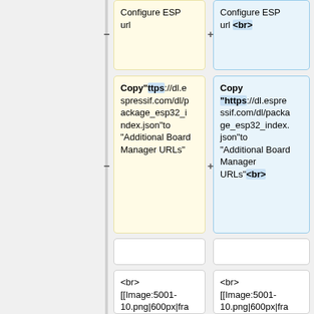Configure ESP url (left column, top, yellow box, minus)
Configure ESP url <br> (right column, top, blue box, plus)
Copy"ttps://dl.espressif.com/dl/package_esp32_index.json"to "Additional Board Manager URLs" (left, yellow box, minus)
Copy "https://dl.espressif.com/dl/package_esp32_index.json"to "Additional Board Manager URLs"<br> (right, blue box, plus)
(empty boxes)
<br> [[Image:5001-10.png|600px|frameless]]<br> (left)
<br> [[Image:5001-10.png|600px|frameless]]<br> (right)
Line 54:
Line 54:
<br> [[Image:5001-11.png|600px|fra (left)
<br> [[Image:5001-11.png|600px|fra (right)